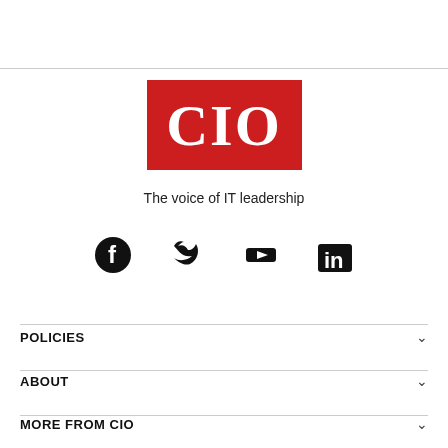[Figure (logo): CIO logo — white letters 'CIO' on red background rectangle]
The voice of IT leadership
[Figure (infographic): Social media icons: Facebook, Twitter, YouTube, LinkedIn]
POLICIES
ABOUT
MORE FROM CIO